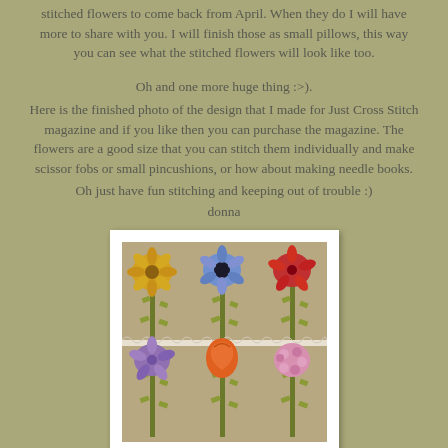stitched flowers to come back from April. When they do I will have more to share with you. I will finish those as small pillows, this way you can see what the stitched flowers will look like too.
Oh and one more huge thing :>).
Here is the finished photo of the design that I made for Just Cross Stitch magazine and if you like then you can purchase the magazine. The flowers are a good size that you can stitch them individually and make scissor fobs or small pincushions, or how about making needle books.
Oh just have fun stitching and keeping out of trouble :)
donna
[Figure (photo): A framed cross-stitch artwork showing six colorful flowers arranged in two rows of three: top row has yellow/orange echinacea, blue flower with black center, and red flower; bottom row has purple flower, orange tulip, and pink hydrangea. Flowers have olive green stems and leaves on a linen background, with a white lace trim separating the two rows.]